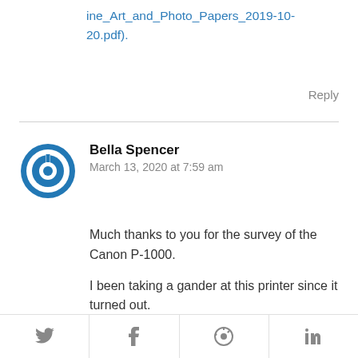ine_Art_and_Photo_Papers_2019-10-20.pdf).
Reply
[Figure (illustration): Blue circular power button icon used as user avatar for Bella Spencer]
Bella Spencer
March 13, 2020 at 7:59 am
Much thanks to you for the survey of the Canon P-1000.
I been taking a gander at this printer since it turned out.
By and by I'm utilizing the Canon P-10 and I'm extremely satisfied with
[Figure (infographic): Social sharing bar with Twitter, Facebook, Pinterest, and LinkedIn icons]